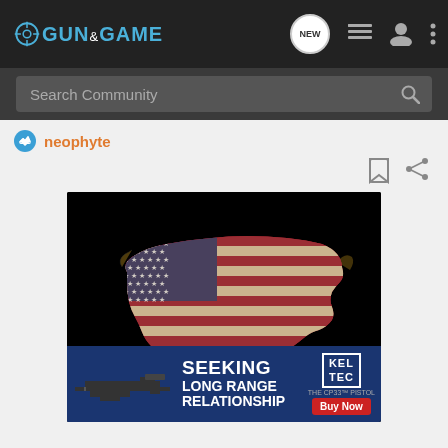Gun & Game - navigation bar with logo, NEW chat icon, list icon, user icon, more options
Search Community
neophyte
[Figure (illustration): US map shape filled with distressed American flag design (stars and stripes) on black background]
[Figure (infographic): Kel-Tec CP33 Pistol advertisement banner: SEEKING LONG RANGE RELATIONSHIP - Buy Now button]